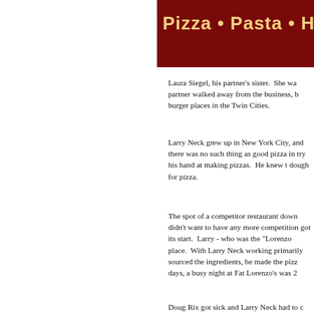[Figure (other): Red banner header with text 'Pizza • Pasta • Hoagie' in yellow on dark red background]
Laura Siegel, his partner's sister.  She wa partner walked away from the business, b burger places in the Twin Cities.
Larry Neck grew up in New York City, and there was no such thing as good pizza in try his hand at making pizzas.  He knew t dough for pizza.
The spot of a competitor restaurant down didn't want to have any more competition got its start.  Larry - who was the "Lorenzo place.  With Larry Neck working primarily sourced the ingredients, he made the pizz days, a busy night at Fat Lorenzo's was 2
Doug Rix got sick and Larry Neck had to garnered a "best pizza in the Twin Cities" Lorenzo's pizza and Neck had to open the award wore off in a few months, Neck clo
Guess what?  Not long after he closed it a with other employees and repeat the cycl Lorenzo's was open.
In 1995, Larry Neck had had enough of th